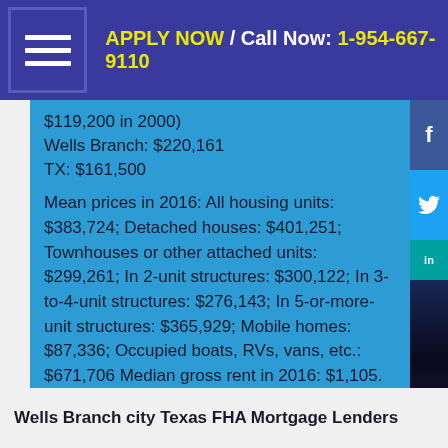APPLY NOW / Call Now: 1-954-667-9110
$119,200 in 2000)
Wells Branch: $220,161
TX: $161,500
Mean prices in 2016: All housing units: $383,724; Detached houses: $401,251; Townhouses or other attached units: $299,261; In 2-unit structures: $300,122; In 3-to-4-unit structures: $276,143; In 5-or-more-unit structures: $365,929; Mobile homes: $87,336; Occupied boats, RVs, vans, etc.: $671,706 Median gross rent in 2016: $1,105.
Wells Branch city Texas FHA Mortgage Lenders